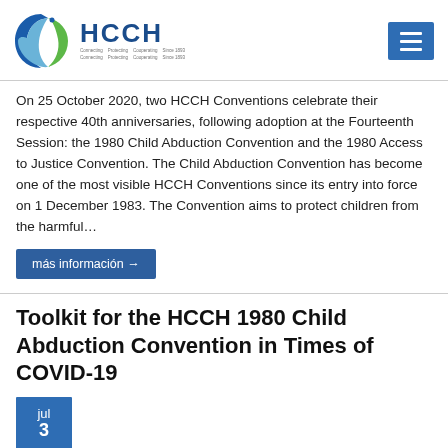[Figure (logo): HCCH logo with circular swirl graphic in blue and green, text 'HCCH' in bold blue, taglines below]
On 25 October 2020, two HCCH Conventions celebrate their respective 40th anniversaries, following adoption at the Fourteenth Session: the 1980 Child Abduction Convention and the 1980 Access to Justice Convention. The Child Abduction Convention has become one of the most visible HCCH Conventions since its entry into force on 1 December 1983. The Convention aims to protect children from the harmful...
más información →
Toolkit for the HCCH 1980 Child Abduction Convention in Times of COVID-19
jul 3